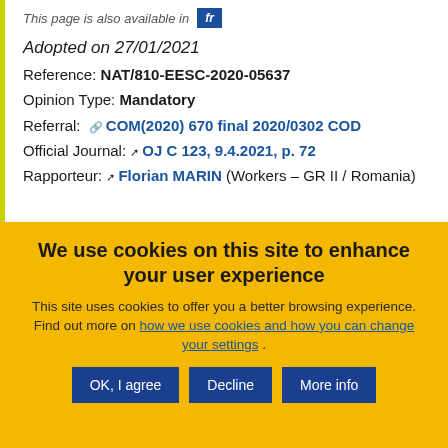This page is also available in  fr
Adopted on 27/01/2021
Reference: NAT/810-EESC-2020-05637
Opinion Type: Mandatory
Referral: COM(2020) 670 final 2020/0302 COD
Official Journal: OJ C 123, 9.4.2021, p. 72
Rapporteur: Florian MARIN (Workers - GR II / Romania)
We use cookies on this site to enhance your user experience
This site uses cookies to offer you a better browsing experience. Find out more on how we use cookies and how you can change your settings .